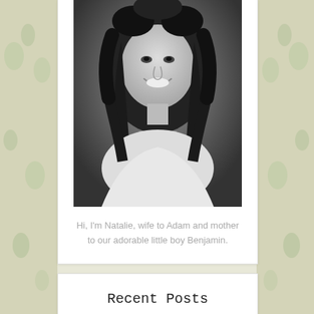[Figure (photo): Black and white portrait photo of a smiling young woman with curly/wavy hair, wearing a light-colored top]
Hi, I'm Natalie, wife to Adam and mother to our adorable little boy Benjamin.
Recent Posts
Pregnancy Pics
9 Months